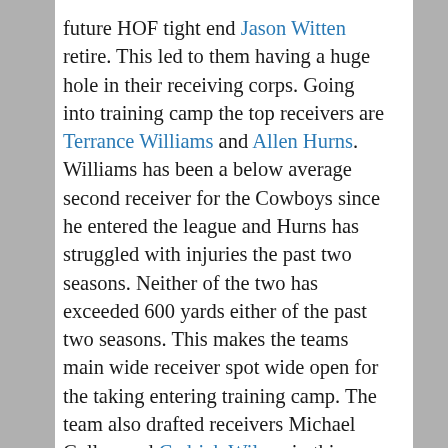future HOF tight end Jason Witten retire. This led to them having a huge hole in their receiving corps. Going into training camp the top receivers are Terrance Williams and Allen Hurns. Williams has been a below average second receiver for the Cowboys since he entered the league and Hurns has struggled with injuries the past two seasons. Neither of the two has exceeded 600 yards either of the past two seasons. This makes the teams main wide receiver spot wide open for the taking entering training camp. The team also drafted receivers Michael Gallup and Cedrick Wilson in this year's draft and both could compete for serious playing time. While neither may lock up
Advertisements